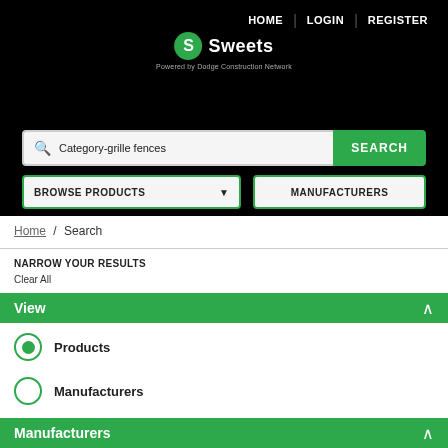HOME | LOGIN | REGISTER
[Figure (logo): Sweets logo — green circle with S, text 'Sweets', subtext 'Powered by Dodge Construction Network']
Category-grille fences SEARCH
BROWSE PRODUCTS ▼   MANUFACTURERS
Home / Search
NARROW YOUR RESULTS
Clear All
View
Products
Manufacturers
Manufacturers